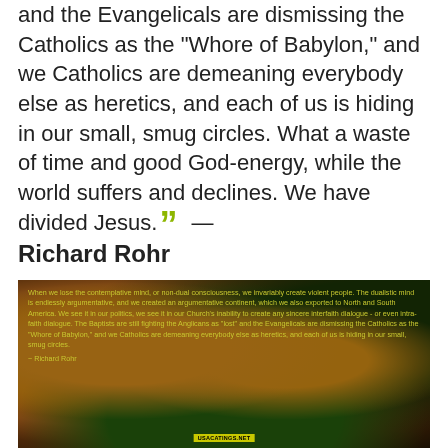and the Evangelicals are dismissing the Catholics as the "Whore of Babylon," and we Catholics are demeaning everybody else as heretics, and each of us is hiding in our small, smug circles. What a waste of time and good God-energy, while the world suffers and declines. We have divided Jesus." — Richard Rohr
[Figure (photo): Two lovebirds (parrots) with orange/yellow plumage against a dark background, with yellow text overlay containing a Richard Rohr quote about contemplative mind and non-dual consciousness, and a website URL watermark at the bottom.]